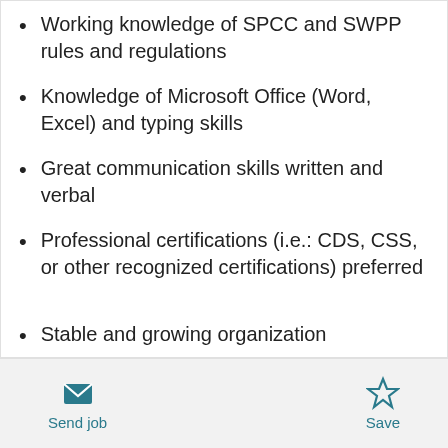Working knowledge of SPCC and SWPP rules and regulations
Knowledge of Microsoft Office (Word, Excel) and typing skills
Great communication skills written and verbal
Professional certifications (i.e.: CDS, CSS, or other recognized certifications) preferred
Stable and growing organization
Competitive weekly pay
Quick advancement
Send job   Save